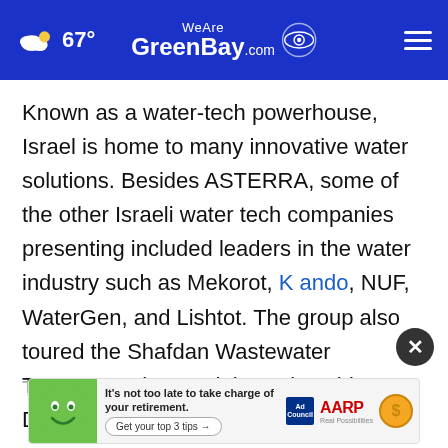67° WeAreGreenBay.com
Known as a water-tech powerhouse, Israel is home to many innovative water solutions. Besides ASTERRA, some of the other Israeli water tech companies presenting included leaders in the water industry such as Mekorot, Kando, NUF, WaterGen, and Lishtot. The group also toured the Shafdan Wastewater Treatment Plant and the Palmachim Desalination Plant during their visit.
The p...nco
[Figure (screenshot): Advertisement banner: AARP retirement tips ad with green cartoon face, 'It’s not too late to take charge of your retirement. Get your top 3 tips' button, Ad Council logo, AARP logo, and dollar coin icon. Close (X) button overlaid.]